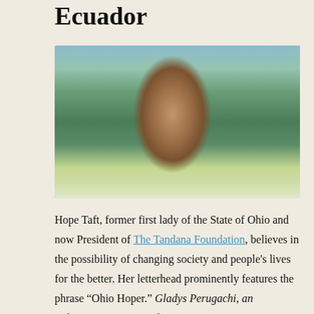Ecuador
[Figure (photo): A young indigenous woman wearing traditional Ecuadorian clothing — a white blouse with colorful embroidered flowers and a dark fabric wrap, with gold bead necklace and earrings, standing outdoors with green hills and a village in the background.]
Hope Taft, former first lady of the State of Ohio and now President of The Tandana Foundation, believes in the possibility of changing society and people's lives for the better. Her letterhead prominently features the phrase “Ohio Hoper.” Gladys Perugachi, an indigenous woman in the